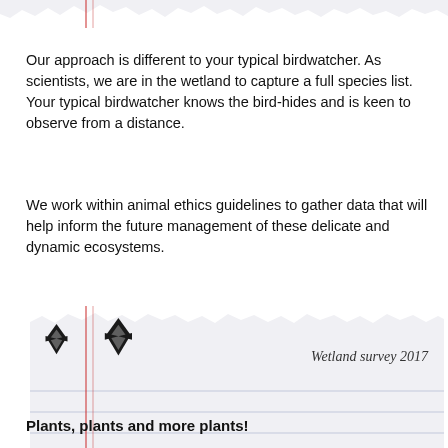[Figure (illustration): Torn top edge of a notepad with red margin lines]
Our approach is different to your typical birdwatcher. As scientists, we are in the wetland to capture a full species list. Your typical birdwatcher knows the bird-hides and is keen to observe from a distance.
We work within animal ethics guidelines to gather data that will help inform the future management of these delicate and dynamic ecosystems.
[Figure (illustration): Notepad graphic with torn edges, red margin lines, two bird/leaf logos, italic text reading 'Wetland survey 2017', and body text: 'We visit up to five sites in a morning but take a break between 11 and 3 when the birds are less active. In the afternoon, we head out to survey more sites. We try to beat the setting sun!']
Plants, plants and more plants!